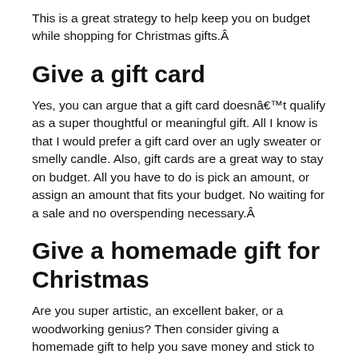This is a great strategy to help keep you on budget while shopping for Christmas gifts.Â
Give a gift card
Yes, you can argue that a gift card doesnât qualify as a super thoughtful or meaningful gift. All I know is that I would prefer a gift card over an ugly sweater or smelly candle. Also, gift cards are a great way to stay on budget. All you have to do is pick an amount, or assign an amount that fits your budget. No waiting for a sale and no overspending necessary.Â
Give a homemade gift for Christmas
Are you super artistic, an excellent baker, or a woodworking genius? Then consider giving a homemade gift to help you save money and stick to your Christmas budget...